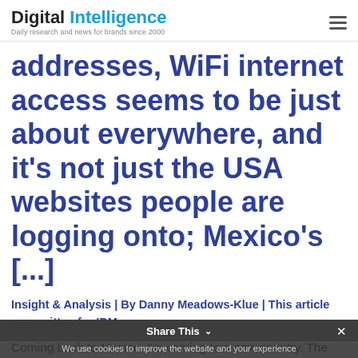Digital Intelligence — Daily research and news for brands since 2000
addresses, WiFi internet access seems to be just about everywhere, and it's not just the USA websites people are logging onto; Mexico's [...]
Insight & Analysis | By Danny Meadows-Klue | This article was written for IDM
Coming back to Mexico, I'm coming to a new country. The billboards from the airport are
Share This | We use cookies to improve the website and your experience